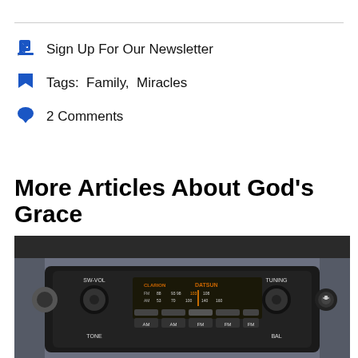Sign Up For Our Newsletter
Tags: Family, Miracles
2 Comments
More Articles About God's Grace
[Figure (photo): Vintage Clarion Datsun car radio with AM/FM tuner, knobs labeled SW-VOL, TONE, TUNING, BAL, and preset buttons labeled AM, AM, FM, FM, FM]